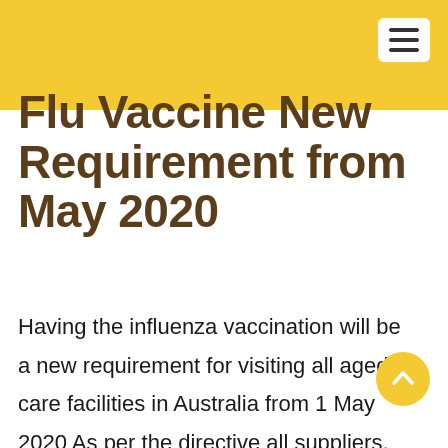Flu Vaccine New Requirement from May 2020
Having the influenza vaccination will be a new requirement for visiting all aged care facilities in Australia from 1 May 2020 As per the directive all suppliers, contractors, subcontractors, health practitioners, volunteers and other stakeholders seeking entry to aged care facilities must be vaccinated for influenza.